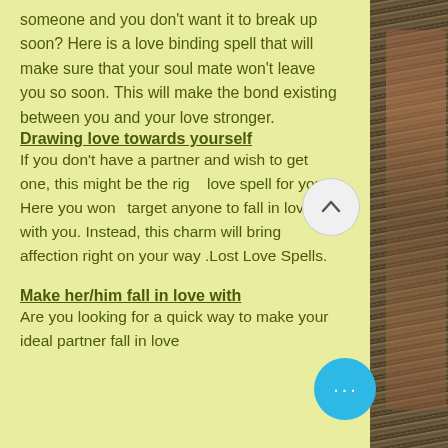someone and you don't want it to break up soon? Here is a love binding spell that will make sure that your soul mate won't leave you so soon. This will make the bond existing between you and your love stronger.
Drawing love towards yourself
If you don't have a partner and wish to get one, this might be the right love spell for you. Here you won't target anyone to fall in love with you. Instead, this charm will bring affection right on your way .Lost Love Spells.
Make her/him fall in love with
Are you looking for a quick way to make your ideal partner fall in love